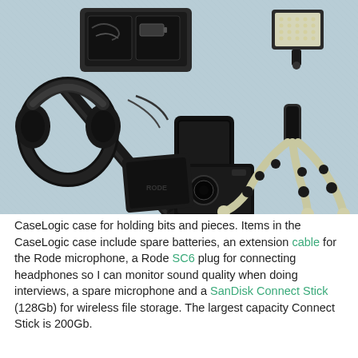[Figure (photo): Flat lay photo of video/audio journalism gear on a light blue-grey fabric surface including headphones, boom microphone pole, small camera, smartphone, flexible GorillaPod tripod, LED light panel, cables, and a CaseLogic pouch with accessories.]
CaseLogic case for holding bits and pieces. Items in the CaseLogic case include spare batteries, an extension cable for the Rode microphone, a Rode SC6 plug for connecting headphones so I can monitor sound quality when doing interviews, a spare microphone and a SanDisk Connect Stick (128Gb) for wireless file storage. The largest capacity Connect Stick is 200Gb.